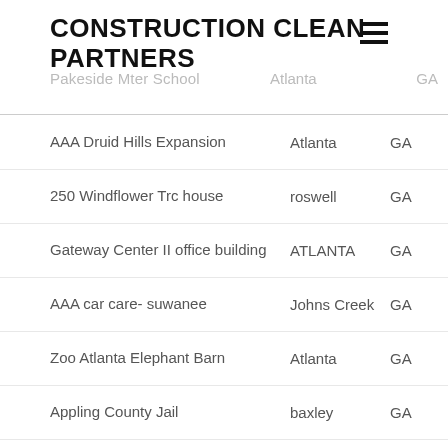CONSTRUCTION CLEAN PARTNERS
| Project | City | State |
| --- | --- | --- |
| AAA Druid Hills Expansion | Atlanta | GA |
| 250 Windflower Trc house | roswell | GA |
| Gateway Center II office building | ATLANTA | GA |
| AAA car care- suwanee | Johns Creek | GA |
| Zoo Atlanta Elephant Barn | Atlanta | GA |
| Appling County Jail | baxley | GA |